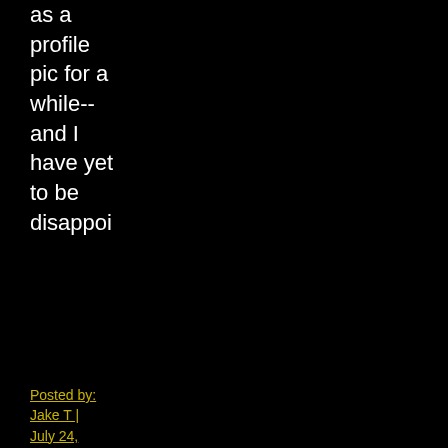as a profile pic for a while-- and I have yet to be disappoi
Posted by: Jake T | July 24, 2011 at 05:49 PM
[Figure (illustration): Small square avatar image with blue geometric pattern on light blue background]
The debacle that is the recent 6-DVD set of The Dean Martin